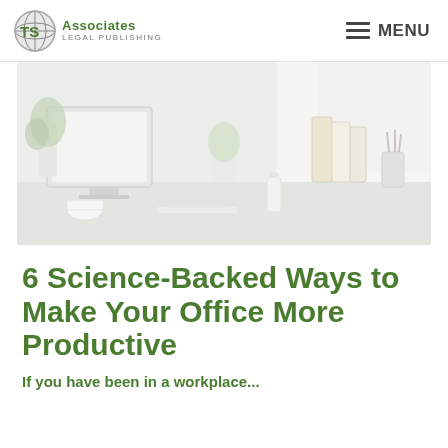TS Associates Legal Publishing — MENU
[Figure (photo): Bright, airy office workspace with white desk, computer monitor, plants, binders and stationery, softly lit by natural light from a window.]
6 Science-Backed Ways to Make Your Office More Productive
If you have been in a workplace...